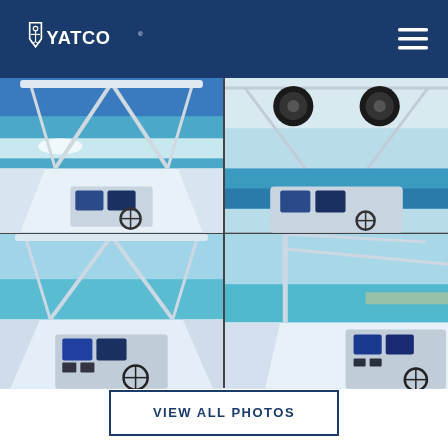YATCO
[Figure (photo): Grid of four boat cockpit photos showing a center console boat with navigation equipment, T-top, and blue/turquoise water in the background. Four views of the helm station and cockpit area of a white sport fishing boat.]
VIEW ALL PHOTOS